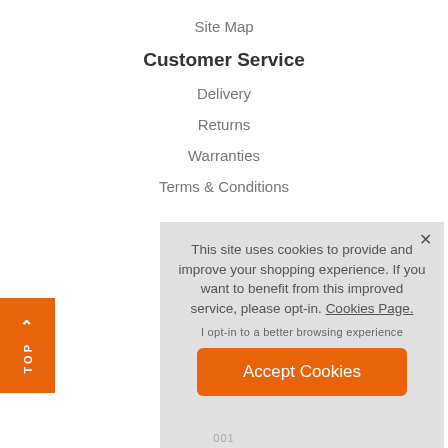Site Map
Customer Service
Delivery
Returns
Warranties
Terms & Conditions
This site uses cookies to provide and improve your shopping experience. If you want to benefit from this improved service, please opt-in. Cookies Page.
I opt-in to a better browsing experience
Accept Cookies
001